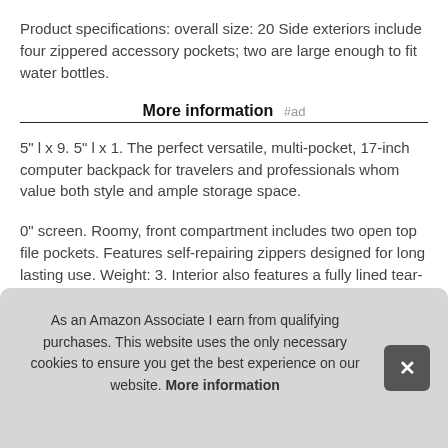Product specifications: overall size: 20 Side exteriors include four zippered accessory pockets; two are large enough to fit water bottles.
More information #ad
5" l x 9. 5" l x 1. The perfect versatile, multi-pocket, 17-inch computer backpack for travelers and professionals whom value both style and ample storage space.
0" screen. Roomy, front compartment includes two open top file pockets. Features self-repairing zippers designed for long lasting use. Weight: 3. Interior also features a fully lined tear-resi... sho... poc... pad...
As an Amazon Associate I earn from qualifying purchases. This website uses the only necessary cookies to ensure you get the best experience on our website. More information